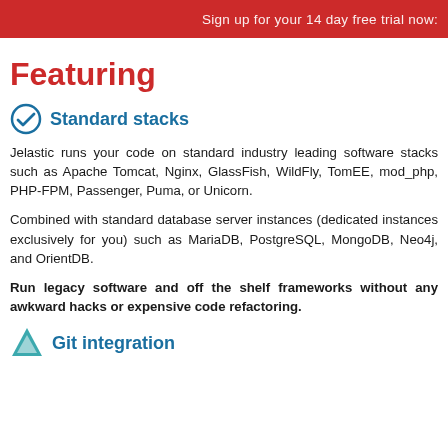Sign up for your 14 day free trial now:
Featuring
Standard stacks
Jelastic runs your code on standard industry leading software stacks such as Apache Tomcat, Nginx, GlassFish, WildFly, TomEE, mod_php, PHP-FPM, Passenger, Puma, or Unicorn.
Combined with standard database server instances (dedicated instances exclusively for you) such as MariaDB, PostgreSQL, MongoDB, Neo4j, and OrientDB.
Run legacy software and off the shelf frameworks without any awkward hacks or expensive code refactoring.
Git integration